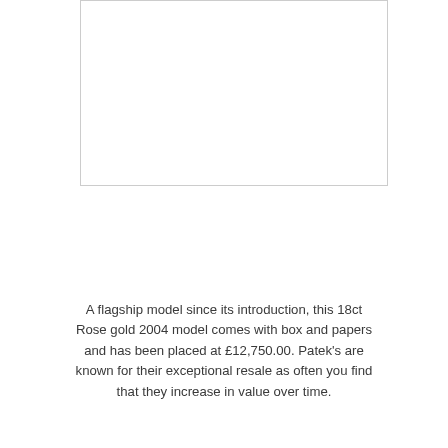[Figure (photo): White/blank image area representing a watch photograph placeholder, outlined with a light grey border.]
A flagship model since its introduction, this 18ct Rose gold 2004 model comes with box and papers and has been placed at £12,750.00. Patek's are known for their exceptional resale as often you find that they increase in value over time.